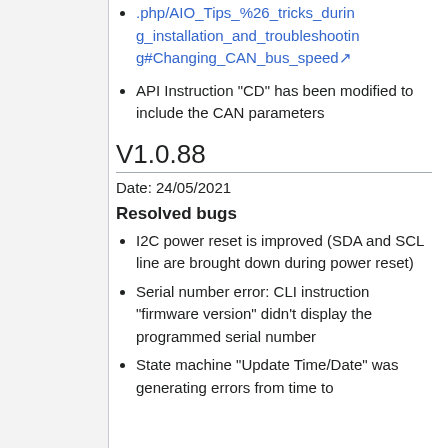.php/AIO_Tips_%26_tricks_during_installation_and_troubleshooting#Changing_CAN_bus_speed
API Instruction "CD" has been modified to include the CAN parameters
V1.0.88
Date: 24/05/2021
Resolved bugs
I2C power reset is improved (SDA and SCL line are brought down during power reset)
Serial number error: CLI instruction "firmware version" didn't display the programmed serial number
State machine "Update Time/Date" was generating errors from time to